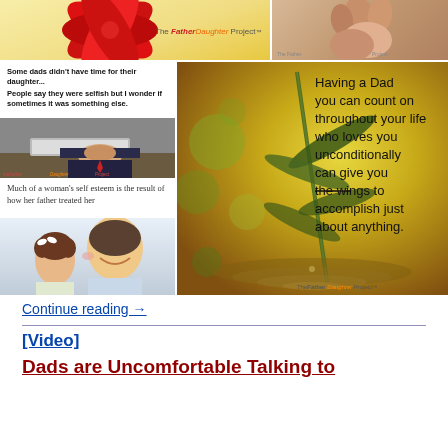[Figure (photo): Collage of Father Daughter Project images including a gift bow with logo, hands clasped, a sleeping man at laptop with quotes about dads, a large yellow-green nature background with inspirational quote about having a dad, a handwritten-style quote about women's self esteem, and a father-daughter photo.]
Continue reading →
[Video]
Dads are Uncomfortable Talking to